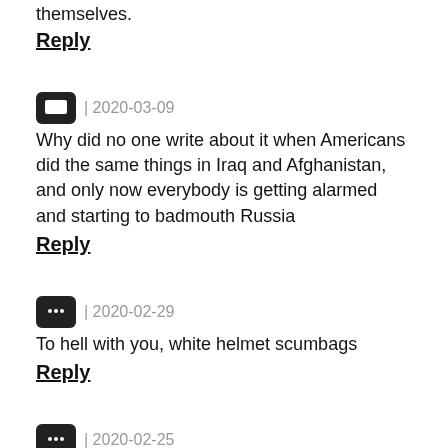themselves.
Reply
| 2020-03-09
Why did no one write about it when Americans did the same things in Iraq and Afghanistan, and only now everybody is getting alarmed and starting to badmouth Russia
Reply
| 2020-02-29
To hell with you, white helmet scumbags
Reply
| 2020-02-25
Unbelievable nonsense )))